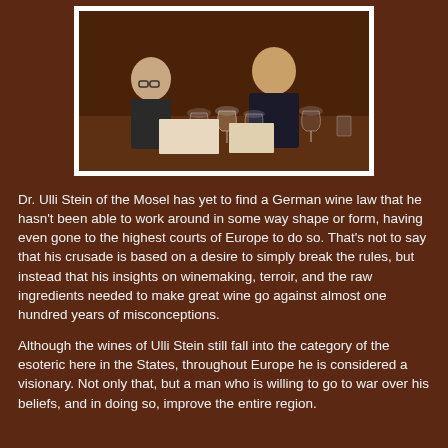[Figure (photo): Two men seated at a table with multiple wine glasses in front of them, appearing to taste or evaluate wine at a restaurant or tasting event.]
Dr. Ulli Stein of the Mosel has yet to find a German wine law that he hasn't been able to work around in some way shape or form, having even gone to the highest courts of Europe to do so.  That's not to say that his crusade is based on a desire to simply break the rules, but instead that his insights on winemaking, terroir, and the raw ingredients needed to make great wine go against almost one hundred years of misconceptions.
Although the wines of Ulli Stein still fall into the category of the esoteric here in the States, throughout Europe he is considered a visionary.  Not only that, but a man who is willing to go to war over his beliefs, and in doing so, improve the entire region.